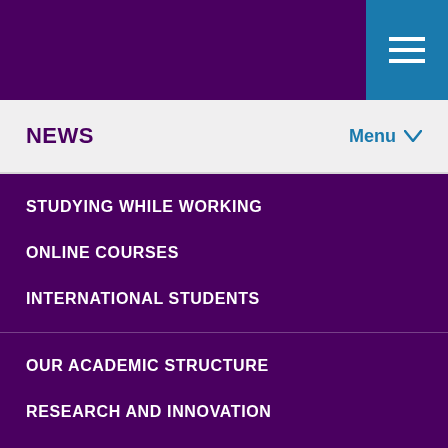NEWS
Menu
STUDYING WHILE WORKING
ONLINE COURSES
INTERNATIONAL STUDENTS
OUR ACADEMIC STRUCTURE
RESEARCH AND INNOVATION
DO A PHD WITH US
RESEARCH FEATURES